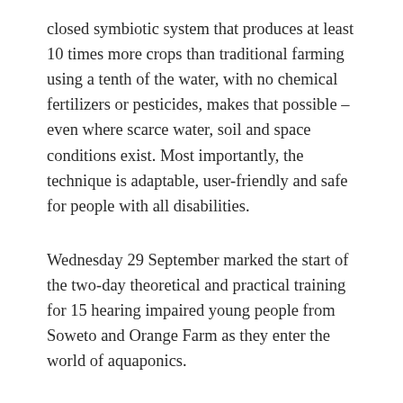closed symbiotic system that produces at least 10 times more crops than traditional farming using a tenth of the water, with no chemical fertilizers or pesticides, makes that possible – even where scarce water, soil and space conditions exist. Most importantly, the technique is adaptable, user-friendly and safe for people with all disabilities.
Wednesday 29 September marked the start of the two-day theoretical and practical training for 15 hearing impaired young people from Soweto and Orange Farm as they enter the world of aquaponics.